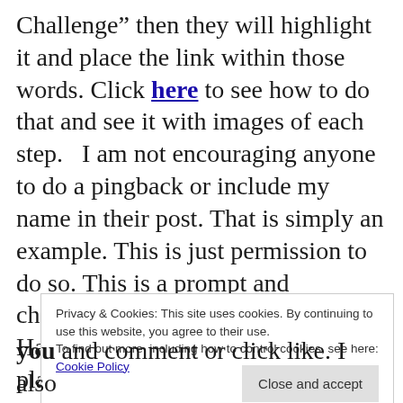Challenge” then they will highlight it and place the link within those words. Click here to see how to do that and see it with images of each step.   I am not encouraging anyone to do a pingback or include my name in their post. That is simply an example. This is just permission to do so. This is a prompt and challenge to encourage people to try Haiku and give some a prompt and a place to share in comments so we can find each other.
Privacy & Cookies: This site uses cookies. By continuing to use this website, you agree to their use. To find out more, including how to control cookies, see here: Cookie Policy
you and comment or click like. I also